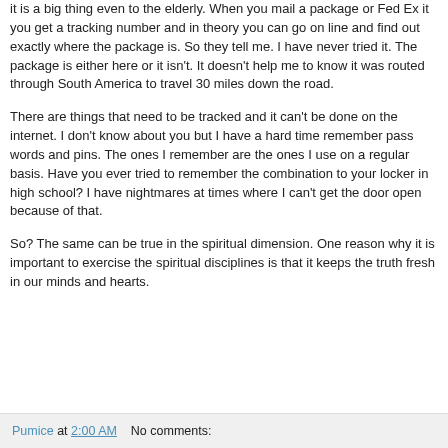it is a big thing even to the elderly. When you mail a package or Fed Ex it you get a tracking number and in theory you can go on line and find out exactly where the package is. So they tell me. I have never tried it. The package is either here or it isn't. It doesn't help me to know it was routed through South America to travel 30 miles down the road.
There are things that need to be tracked and it can't be done on the internet. I don't know about you but I have a hard time remember pass words and pins. The ones I remember are the ones I use on a regular basis. Have you ever tried to remember the combination to your locker in high school? I have nightmares at times where I can't get the door open because of that.
So? The same can be true in the spiritual dimension. One reason why it is important to exercise the spiritual disciplines is that it keeps the truth fresh in our minds and hearts.
Pumice at 2:00 AM   No comments: